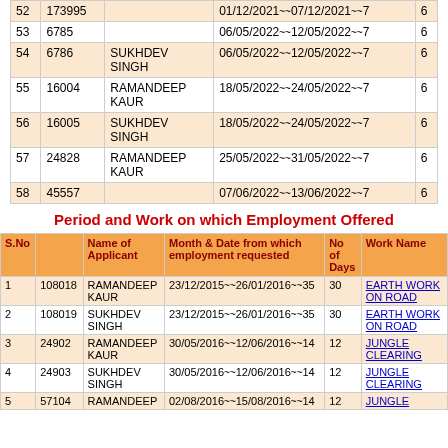|  |  |  |  |  |
| --- | --- | --- | --- | --- |
| 52 | 173995 |  | 01/12/2021~~07/12/2021~~7 | 6 |
| 53 | 6785 |  | 06/05/2022~~12/05/2022~~7 | 6 |
| 54 | 6786 | SUKHDEV SINGH | 06/05/2022~~12/05/2022~~7 | 6 |
| 55 | 16004 | RAMANDEEP KAUR | 18/05/2022~~24/05/2022~~7 | 6 |
| 56 | 16005 | SUKHDEV SINGH | 18/05/2022~~24/05/2022~~7 | 6 |
| 57 | 24828 | RAMANDEEP KAUR | 25/05/2022~~31/05/2022~~7 | 6 |
| 58 | 45557 |  | 07/06/2022~~13/06/2022~~7 | 6 |
Period and Work on which Employment Offered
| S.No |  | Name of Applicant | Month & Date from which employment requested | No of Days | Work Name |
| --- | --- | --- | --- | --- | --- |
| 1 | 108018 | RAMANDEEP KAUR | 23/12/2015~~26/01/2016~~35 | 30 | EARTH WORK ON ROAD |
| 2 | 108019 | SUKHDEV SINGH | 23/12/2015~~26/01/2016~~35 | 30 | EARTH WORK ON ROAD |
| 3 | 24902 | RAMANDEEP KAUR | 30/05/2016~~12/06/2016~~14 | 12 | JUNGLE CLEARING |
| 4 | 24903 | SUKHDEV SINGH | 30/05/2016~~12/06/2016~~14 | 12 | JUNGLE CLEARING |
| 5 | 57104 | RAMANDEEP | 02/08/2016~~15/08/2016~~14 | 12 | JUNGLE |